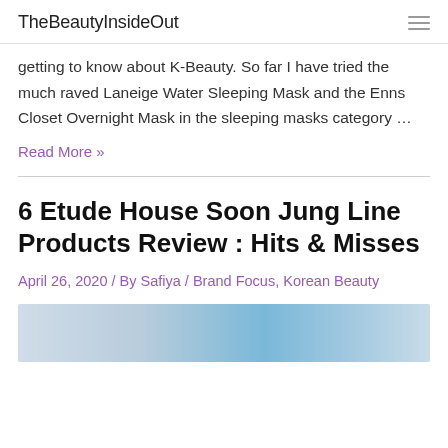TheBeautyInsideOut
getting to know about K-Beauty. So far I have tried the much raved Laneige Water Sleeping Mask and the Enns Closet Overnight Mask in the sleeping masks category …
Read More »
6 Etude House Soon Jung Line Products Review : Hits & Misses
April 26, 2020 / By Safiya / Brand Focus, Korean Beauty
[Figure (photo): Partial view of a product image at the bottom of the page]